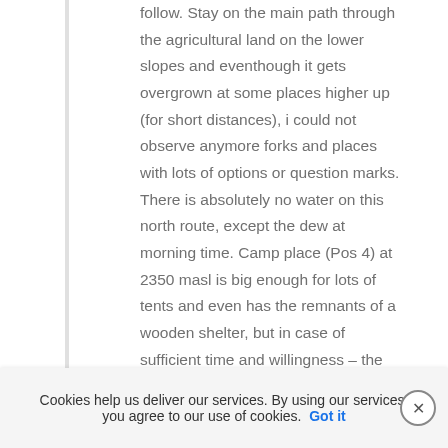follow. Stay on the main path through the agricultural land on the lower slopes and eventhough it gets overgrown at some places higher up (for short distances), i could not observe anymore forks and places with lots of options or question marks. There is absolutely no water on this north route, except the dew at morning time. Camp place (Pos 4) at 2350 masl is big enough for lots of tents and even has the remnants of a wooden shelter, but in case of sufficient time and willingness – the landscape and the views are far superior at 2800 masl (no real Pos numbering sign, but big enough for 3-4 tents), short distance
Cookies help us deliver our services. By using our services, you agree to our use of cookies. Got it